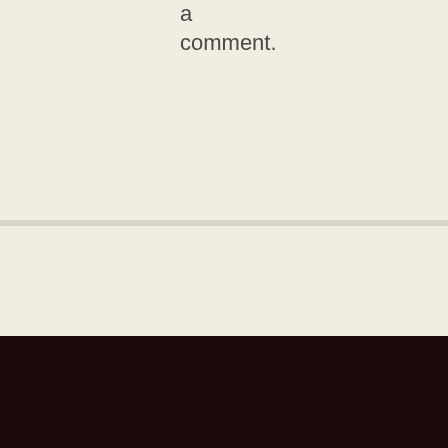a comment.
Upcoming Events
Follow Elmfield!
[Figure (infographic): Social media icons: RSS (orange), Email (green), Twitter (blue), Facebook (blue)]